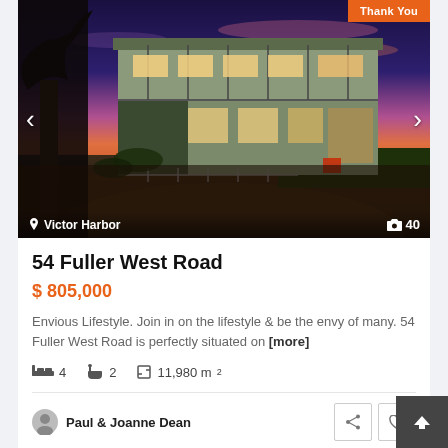[Figure (photo): Two-storey house at dusk/twilight with lit windows, wraparound deck, verandah, gravel driveway, tree silhouette in foreground, pink-blue sky. Location label: Victor Harbor. Camera icon with count: 40.]
54 Fuller West Road
$ 805,000
Envious Lifestyle. Join in on the lifestyle & be the envy of many. 54 Fuller West Road is perfectly situated on [more]
4 bedrooms, 2 bathrooms, 11,980 m²
Paul & Joanne Dean